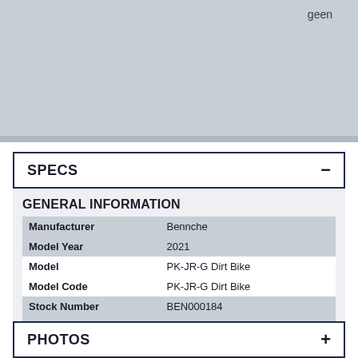[Figure (photo): Gray image placeholder area with 'geen' text in the upper right corner]
SPECS
GENERAL INFORMATION
| Manufacturer | Bennche |
| Model Year | 2021 |
| Model | PK-JR-G Dirt Bike |
| Model Code | PK-JR-G Dirt Bike |
| Stock Number | BEN000184 |
| Color | geen |
PHOTOS